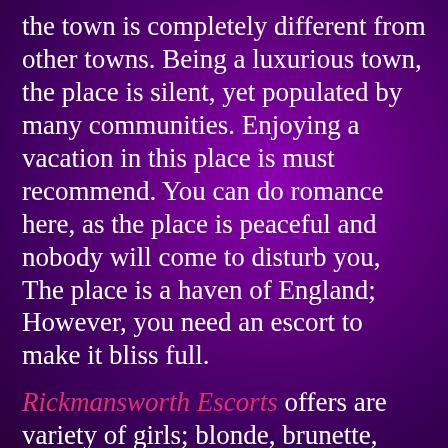the town is completely different from other towns. Being a luxurious town, the place is silent, yet populated by many communities. Enjoying a vacation in this place is must recommend. You can do romance here, as the place is peaceful and nobody will come to disturb you, The place is a haven of England; However, you need an escort to make it bliss full.
Rickmansworth Escorts offers are variety of girls; blonde, brunette, Asians, and all of them are talented, knowledgeable, and cutest creations in the world. This romantic place should not be missed by you, make sure your